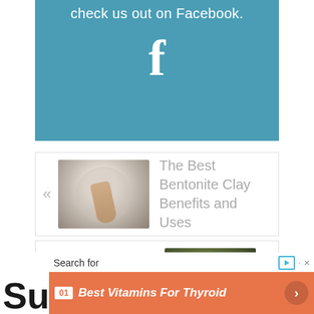[Figure (screenshot): Teal/blue Facebook banner with white 'f' icon and text 'check us out on Facebook!']
« The Best Bentonite Clay Benefits and Uses
Crock Pot Cuban Beef Recipe »
[Figure (screenshot): Advertisement: Su logo with 'Search for' header and orange bar reading '01 Best Vitamins For Thyroid']